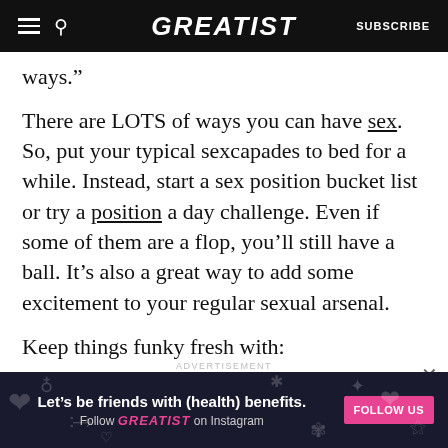GREATIST | SUBSCRIBE
ways.”
There are LOTS of ways you can have sex. So, put your typical sexcapades to bed for a while. Instead, start a sex position bucket list or try a position a day challenge. Even if some of them are a flop, you’ll still have a ball. It’s also a great way to add some excitement to your regular sexual arsenal.
Keep things funky fresh with:
anal
[Figure (screenshot): Advertisement banner: dark background with doodle icons, text 'Let’s be friends with (health) benefits. Follow GREATIST on Instagram' with a pink FOLLOW US button.]